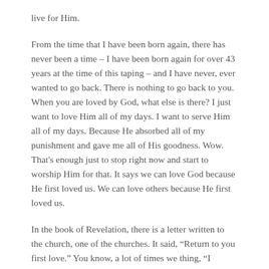live for Him.
From the time that I have been born again, there has never been a time – I have been born again for over 43 years at the time of this taping – and I have never, ever wanted to go back. There is nothing to go back to you. When you are loved by God, what else is there? I just want to love Him all of my days. I want to serve Him all of my days. Because He absorbed all of my punishment and gave me all of His goodness. Wow. That's enough just to stop right now and start to worship Him for that. It says we can love God because He first loved us. We can love others because He first loved us.
In the book of Revelation, there is a letter written to the church, one of the churches. It said, “Return to you first love.” You know, a lot of times we thing, “I